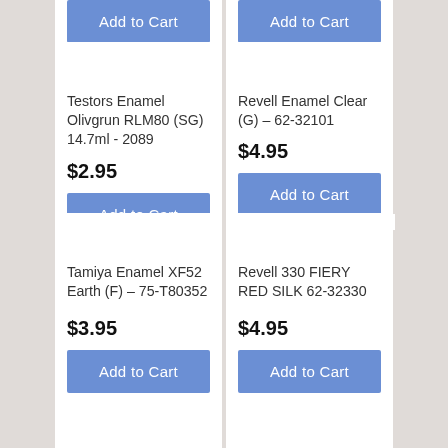Add to Cart
Add to Cart
Testors Enamel Olivgrun RLM80 (SG) 14.7ml - 2089
$2.95
Add to Cart
Revell Enamel Clear (G) - 62-32101
$4.95
Add to Cart
Tamiya Enamel XF52 Earth (F) - 75-T80352
$3.95
Add to Cart
Revell 330 FIERY RED SILK 62-32330
$4.95
Add to Cart